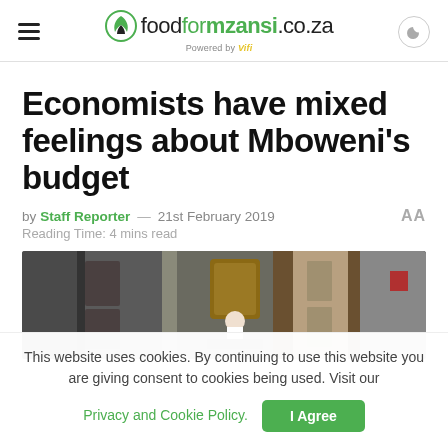foodformzansi.co.za - Powered by Vifi
Economists have mixed feelings about Mboweni's budget
by Staff Reporter — 21st February 2019
Reading Time: 4 mins read
[Figure (photo): A person seated at what appears to be a parliamentary podium or official chamber, with wooden doors and decor in the background.]
This website uses cookies. By continuing to use this website you are giving consent to cookies being used. Visit our Privacy and Cookie Policy.